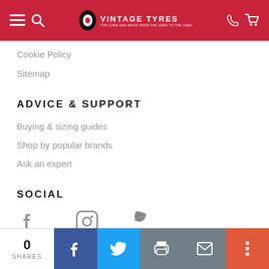Vintage Tyres — For cars and bikes from the 1900s to the 1990s
Cookie Policy
Sitemap
ADVICE & SUPPORT
Buying & sizing guides
Shop by popular brands
Ask an expert
SOCIAL
0 SHARES | Share on Facebook | Share on Twitter | Print | Email | More